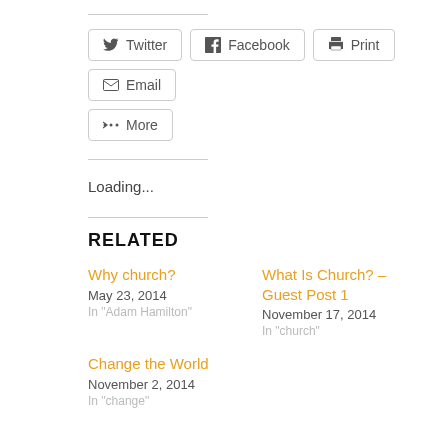Twitter  Facebook  Print  Email
More
Loading...
RELATED
Why church?
May 23, 2014
In "Adam Hamilton"
What Is Church? – Guest Post 1
November 17, 2014
In "church"
Change the World
November 2, 2014
In "change"